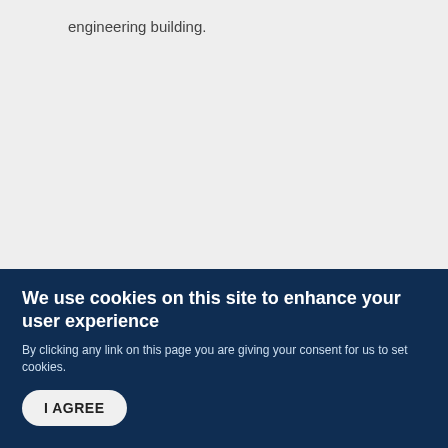engineering building.
[Figure (photo): A horizontal strip showing a metallic or stone surface, likely part of an engineering building exterior.]
We use cookies on this site to enhance your user experience
By clicking any link on this page you are giving your consent for us to set cookies.
I AGREE